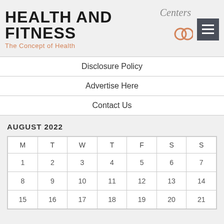[Figure (logo): Health and Fitness Centers logo with bold uppercase text, cursive 'Centers' overlay, salmon colored subtitle 'The Concept of Health', decorative rings, and dark hamburger menu button]
Disclosure Policy
Advertise Here
Contact Us
AUGUST 2022
| M | T | W | T | F | S | S |
| --- | --- | --- | --- | --- | --- | --- |
| 1 | 2 | 3 | 4 | 5 | 6 | 7 |
| 8 | 9 | 10 | 11 | 12 | 13 | 14 |
| 15 | 16 | 17 | 18 | 19 | 20 | 21 |